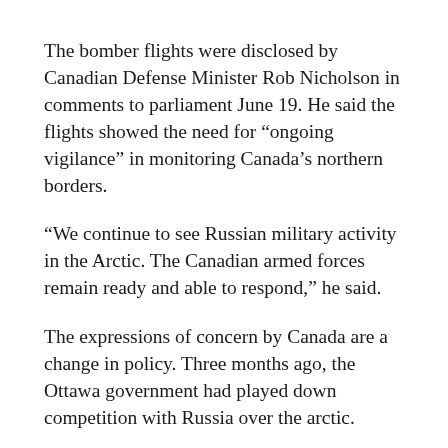The bomber flights were disclosed by Canadian Defense Minister Rob Nicholson in comments to parliament June 19. He said the flights showed the need for “ongoing vigilance” in monitoring Canada’s northern borders.
“We continue to see Russian military activity in the Arctic. The Canadian armed forces remain ready and able to respond,” he said.
The expressions of concern by Canada are a change in policy. Three months ago, the Ottawa government had played down competition with Russia over the arctic.
Also last week, British jet fighters were dispatched to intercept Russian warplanes over the Baltic Sea.
British Typhoon fighters were sent to meet four groups of Russian aircraft, and jet fighters from a